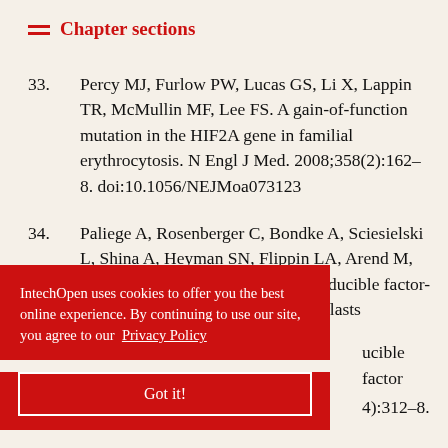Chapter sections
33. Percy MJ, Furlow PW, Lucas GS, Li X, Lappin TR, McMullin MF, Lee FS. A gain-of-function mutation in the HIF2A gene in familial erythrocytosis. N Engl J Med. 2008;358(2):162–8. doi:10.1056/NEJMoa073123
34. Paliege A, Rosenberger C, Bondke A, Sciesielski L, Shina A, Heyman SN, Flippin LA, Arend M, Klaus SJ, Bachmann S. Hypoxia-inducible factor-2alpha-expressing interstitial fibroblasts ... hypoxia-inducible factor ... (4):312–8.
... na J, Davidoff O, Keith B, Epstein JA, Moores SL, Erickson-...